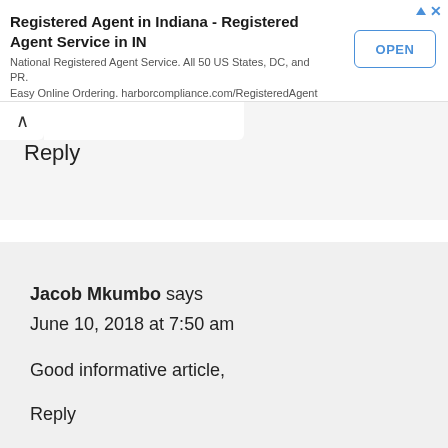[Figure (screenshot): Advertisement banner for 'Registered Agent in Indiana - Registered Agent Service in IN' by harborcompliance.com with an OPEN button]
Reply
Jacob Mkumbo says
June 10, 2018 at 7:50 am

Good informative article,

Reply